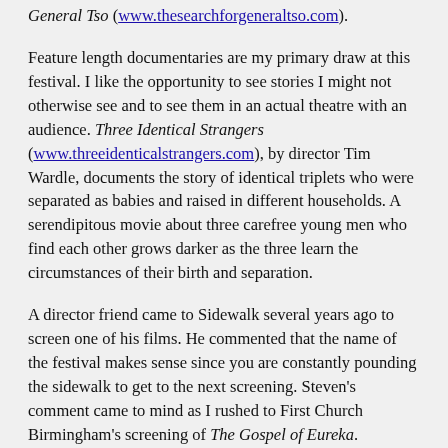General Tso (www.thesearchforgeneraltso.com).
Feature length documentaries are my primary draw at this festival. I like the opportunity to see stories I might not otherwise see and to see them in an actual theatre with an audience. Three Identical Strangers (www.threeidenticalstrangers.com), by director Tim Wardle, documents the story of identical triplets who were separated as babies and raised in different households. A serendipitous movie about three carefree young men who find each other grows darker as the three learn the circumstances of their birth and separation.
A director friend came to Sidewalk several years ago to screen one of his films. He commented that the name of the festival makes sense since you are constantly pounding the sidewalk to get to the next screening. Steven's comment came to mind as I rushed to First Church Birmingham's screening of The Gospel of Eureka.